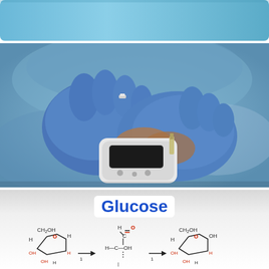[Figure (photo): Light blue background, possibly a blurred medical or clinical environment background strip at the top.]
[Figure (photo): Close-up photo of a medical professional wearing blue latex gloves holding a blood glucose meter, performing a blood sugar test.]
Glucose
[Figure (schematic): Chemical structure diagrams of glucose showing ring forms and open chain form with CH2OH, OH, H, C, O labels and arrows between structures.]